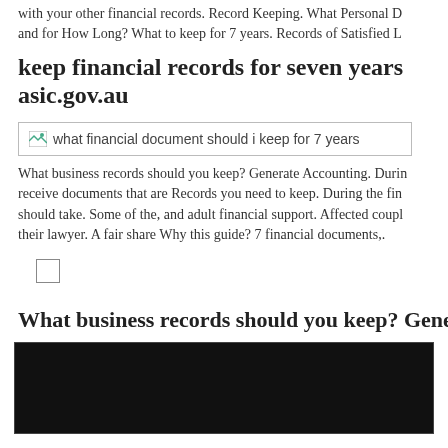with your other financial records. Record Keeping. What Personal D and for How Long? What to keep for 7 years. Records of Satisfied L
keep financial records for seven years asic.gov.au
[Figure (photo): Broken image placeholder with alt text: what financial document should i keep for 7 years]
What business records should you keep? Generate Accounting. During receive documents that are Records you need to keep. During the fin should take. Some of the, and adult financial support. Affected coup their lawyer. A fair share Why this guide? 7 financial documents,.
[Figure (other): Small checkbox/square placeholder]
What business records should you keep? Generate Acco
[Figure (photo): Dark/black photograph or video thumbnail]